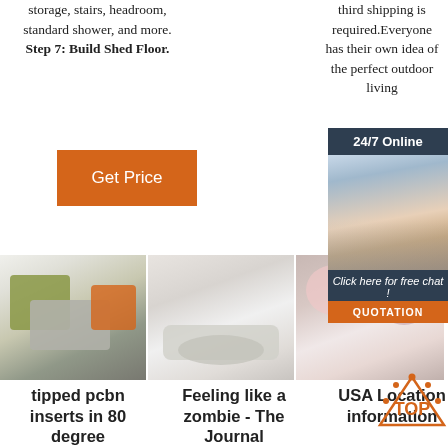storage, stairs, headroom, standard shower, and more. Step 7: Build Shed Floor.
third shipping is required. Everyone has their own idea of the perfect outdoor living
[Figure (infographic): Orange 'Get Price' button on left side]
[Figure (infographic): Partial orange 'G' button on right side]
[Figure (photo): 24/7 Online chat popup with woman wearing headset, dark navy background, 'Click here for free chat!' text, orange QUOTATION button]
[Figure (photo): Three product photos in a row: fluffy colorful pillows, sheepskin rug on couch, fluffy pink rug]
tipped pcbn inserts in 80 degree
Feeling like a zombie - The Journal
USA Location information USA
[Figure (logo): TOP badge with orange triangular/crown shape and dots]